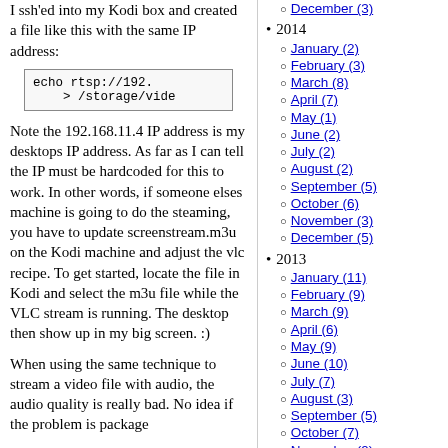I ssh'ed into my Kodi box and created a file like this with the same IP address:
Note the 192.168.11.4 IP address is my desktops IP address. As far as I can tell the IP must be hardcoded for this to work. In other words, if someone elses machine is going to do the steaming, you have to update screenstream.m3u on the Kodi machine and adjust the vlc recipe. To get started, locate the file in Kodi and select the m3u file while the VLC stream is running. The desktop then show up in my big screen. :)
When using the same technique to stream a video file with audio, the audio quality is really bad. No idea if the problem is package
December (3)
2014
January (2)
February (3)
March (8)
April (7)
May (1)
June (2)
July (2)
August (2)
September (5)
October (6)
November (3)
December (5)
2013
January (11)
February (9)
March (9)
April (6)
May (9)
June (10)
July (7)
August (3)
September (5)
October (7)
November (9)
December (3)
2012
January (7)
February (10)